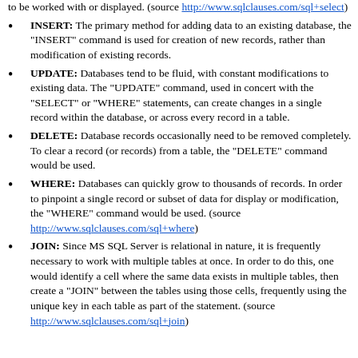continuation: to be worked with or displayed. (source http://www.sqlclauses.com/sql+select)
INSERT: The primary method for adding data to an existing database, the "INSERT" command is used for creation of new records, rather than modification of existing records.
UPDATE: Databases tend to be fluid, with constant modifications to existing data. The "UPDATE" command, used in concert with the "SELECT" or "WHERE" statements, can create changes in a single record within the database, or across every record in a table.
DELETE: Database records occasionally need to be removed completely. To clear a record (or records) from a table, the "DELETE" command would be used.
WHERE: Databases can quickly grow to thousands of records. In order to pinpoint a single record or subset of data for display or modification, the "WHERE" command would be used. (source http://www.sqlclauses.com/sql+where)
JOIN: Since MS SQL Server is relational in nature, it is frequently necessary to work with multiple tables at once. In order to do this, one would identify a cell where the same data exists in multiple tables, then create a "JOIN" between the tables using those cells, frequently using the unique key in each table as part of the statement. (source http://www.sqlclauses.com/sql+join)